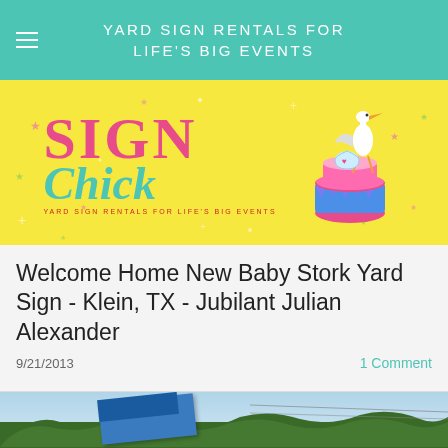YARD SIGN RENTALS FOR LIFE'S BIG EVENTS
[Figure (logo): Sign Chick logo on yellow background with stork, cake, and stars. Text: SIGN Chick YARD SIGN RENTALS FOR LIFE'S BIG EVENTS]
Welcome Home New Baby Stork Yard Sign - Klein, TX - Jubilant Julian Alexander
9/21/2013
1 Comment
[Figure (photo): Outdoor photo showing blue yard sign among trees with sky in background]